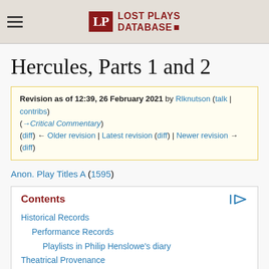Lost Plays Database
Hercules, Parts 1 and 2
Revision as of 12:39, 26 February 2021 by Rlknutson (talk | contribs) (→Critical Commentary)
(diff) ← Older revision | Latest revision (diff) | Newer revision → (diff)
Anon. Play Titles A (1595)
Contents
Historical Records
Performance Records
Playlists in Philip Henslowe's diary
Theatrical Provenance
Probable Genre(s)
Possible Narrative and Dramatic Sources or Analogues
References to the Play